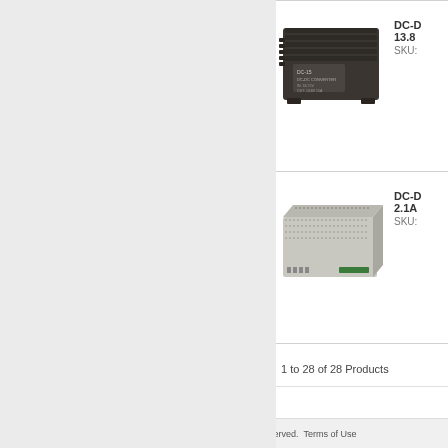[Figure (photo): DC-DC converter device, dark gray metal box with fins and connectors, product image]
DC-D
13.8
SKU:
[Figure (photo): DC-DC converter power supply module, rectangular silver metal enclosure with ventilation holes, product image]
DC-D
2.1A
SKU:
1 to 28 of 28 Products
Home | Contact Us | About Us | Help
Copyright © 2020 by RP Electronic Components Ltd  All rights reserved.  Terms of Use